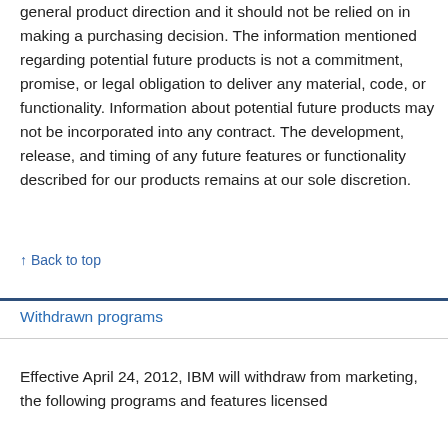general product direction and it should not be relied on in making a purchasing decision. The information mentioned regarding potential future products is not a commitment, promise, or legal obligation to deliver any material, code, or functionality. Information about potential future products may not be incorporated into any contract. The development, release, and timing of any future features or functionality described for our products remains at our sole discretion.
↑ Back to top
Withdrawn programs
Effective April 24, 2012, IBM will withdraw from marketing, the following programs and features licensed